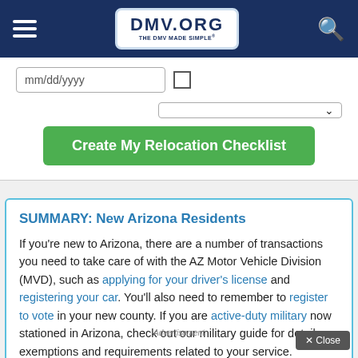DMV.ORG — THE DMV MADE SIMPLE
[Figure (screenshot): Date input field with mm/dd/yyyy placeholder and a checkbox]
[Figure (screenshot): Dropdown selector widget]
[Figure (screenshot): Green button labeled 'Create My Relocation Checklist']
SUMMARY: New Arizona Residents
If you're new to Arizona, there are a number of transactions you need to take care of with the AZ Motor Vehicle Division (MVD), such as applying for your driver's license and registering your car. You'll also need to remember to register to vote in your new county. If you are active-duty military now stationed in Arizona, check out our military guide for details on exemptions and requirements related to your service.